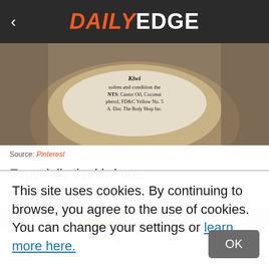DAILY EDGE
[Figure (photo): Close-up of a product jar label showing ingredients including Castor Oil, Coconut, FD&C Yellow, kiwi scent - Body Shop product]
Source: Pinterest
Especially the kiwi one.
10. Sun In
[Figure (photo): Partial bottom strip of product image showing colorful product packaging]
This site uses cookies. By continuing to browse, you agree to the use of cookies. You can change your settings or learn more here.